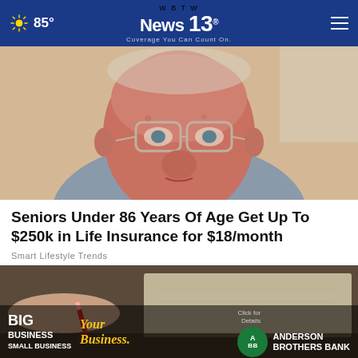85° WBTW News 13 Coverage You Can Count On.
[Figure (photo): Close-up photo of an elderly man with glasses looking at the camera, wearing a grey blazer]
Seniors Under 86 Years Of Age Get Up To $250k in Life Insurance for $18/month
Smart Lifestyle Trends
[Figure (photo): Photo of hands writing/signing a document with a red pen, with an overlaid advertisement for Anderson Brothers Bank reading 'BIG BUSINESS SMALL BUSINESS Your Business. ANDERSON BROTHERS BANK Click for Details']